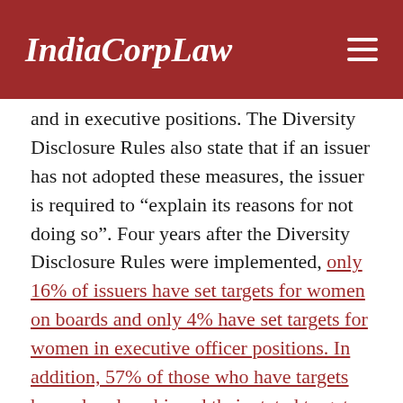IndiaCorpLaw
and in executive positions. The Diversity Disclosure Rules also state that if an issuer has not adopted these measures, the issuer is required to “explain its reasons for not doing so”. Four years after the Diversity Disclosure Rules were implemented, only 16% of issuers have set targets for women on boards and only 4% have set targets for women in executive officer positions. In addition, 57% of those who have targets have already achieved their stated target because issuers tend .
Overall, countries with legally required Board